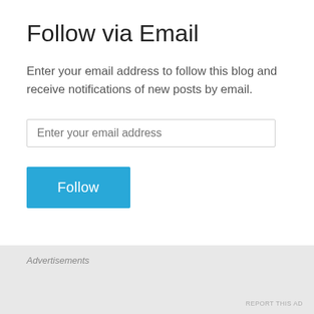Follow via Email
Enter your email address to follow this blog and receive notifications of new posts by email.
[Figure (screenshot): Email input field with placeholder text 'Enter your email address']
[Figure (screenshot): Blue 'Follow' button]
Advertisements
REPORT THIS AD